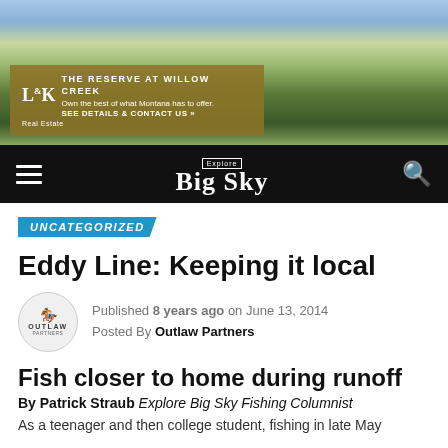[Figure (photo): Aerial landscape photo of Montana plains with mountains in the background under a partly cloudy sky. An advertisement overlay in the bottom-left shows L&K Real Estate promoting 'The Reserve at Willow Creek'.]
Explore Big Sky
UNCATEGORIZED
Eddy Line: Keeping it local
Published 8 years ago on June 13, 2014
Posted By Outlaw Partners
Fish closer to home during runoff
By Patrick Straub Explore Big Sky Fishing Columnist
As a teenager and then college student, fishing in late May